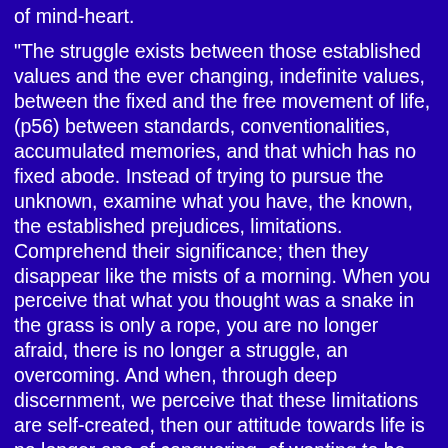of mind-heart.
"The struggle exists between those established values and the ever changing, indefinite values, between the fixed and the free movement of life, (p56) between standards, conventionalities, accumulated memories, and that which has no fixed abode. Instead of trying to pursue the unknown, examine what you have, the known, the established prejudices, limitations. Comprehend their significance; then they disappear like the mists of a morning. When you perceive that what you thought was a snake in the grass is only a rope, you are no longer afraid, there is no longer a struggle, an overcoming. And when, through deep discernment, we perceive that these limitations are self-created, then our attitude towards life is no longer one of conquering, of wanting to be freed through some method or miracle, of seeking comprehension through another. Then we will realise for ourselves that though this process of ignorance appears to have no beginning, it has an end." *
I have read this reply many times, have indeed pondered upon it for a long time. I find that its full significance eludes me. The concept of ignorance, for example, is confusing; for that which exists and has no beginning must be eternal. Therefore, it can have no end. Furthermore, ignorance is